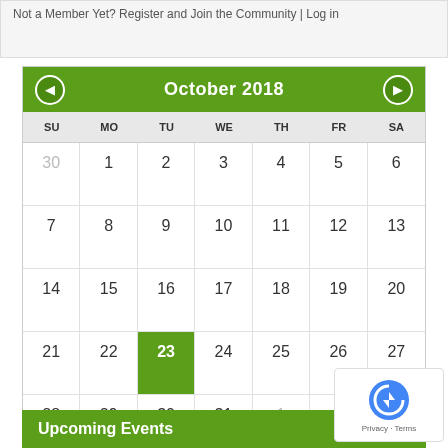Not a Member Yet? Register and Join the Community | Log in
[Figure (other): October 2018 calendar widget with navigation arrows, day-of-week headers (SU MO TU WE TH FR SA), date grid showing Oct 1-31 plus Sep 30 and Nov 1-3, with Oct 23 highlighted in green as today]
Upcoming Events